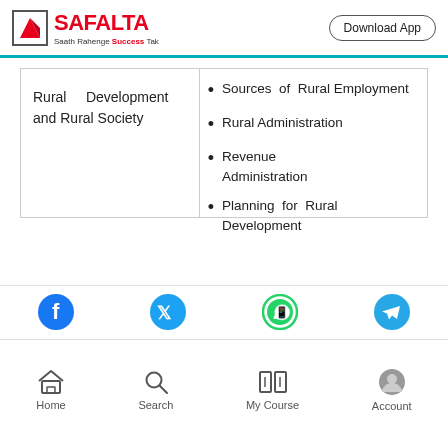SAFALTA — Saath Rahenge Success Tak | Download App
| Topic | Subtopics |
| --- | --- |
| Rural Development and Rural Society | Sources of Rural Employment • Rural Administration • Revenue Administration • Planning for Rural Development |
Sources of Rural Employment
Rural Administration
Revenue Administration
Planning for Rural Development
Home | Search | My Course | Account